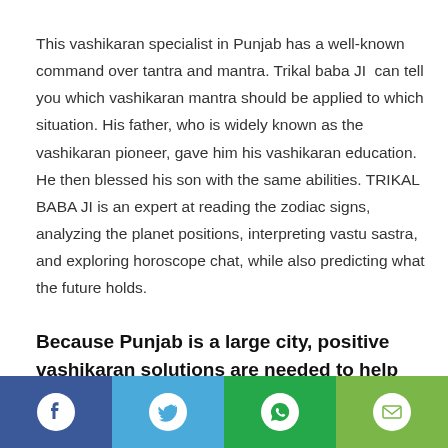This vashikaran specialist in Punjab has a well-known command over tantra and mantra. Trikal baba JI  can tell you which vashikaran mantra should be applied to which situation. His father, who is widely known as the vashikaran pioneer, gave him his vashikaran education. He then blessed his son with the same abilities. TRIKAL BABA JI is an expert at reading the zodiac signs, analyzing the planet positions, interpreting vastu sastra, and exploring horoscope chat, while also predicting what the future holds.
Because Punjab is a large city, positive vashikaran solutions are needed to help people get rid of negative situations
[Figure (infographic): Social share bar with four buttons: Facebook (dark blue), Twitter (light blue), WhatsApp (green), Email (light green)]